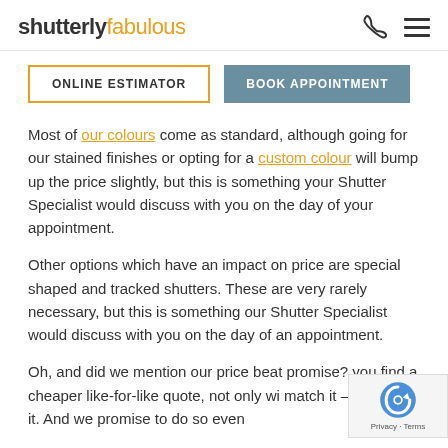shutterly fabulous
ONLINE ESTIMATOR | BOOK APPOINTMENT
Most of our colours come as standard, although going for our stained finishes or opting for a custom colour will bump up the price slightly, but this is something your Shutter Specialist would discuss with you on the day of your appointment.
Other options which have an impact on price are special shaped and tracked shutters. These are very rarely necessary, but this is something our Shutter Specialist would discuss with you on the day of an appointment.
Oh, and did we mention our price beat promise? you find a cheaper like-for-like quote, not only wi match it – we'll beat it. And we promise to do so even